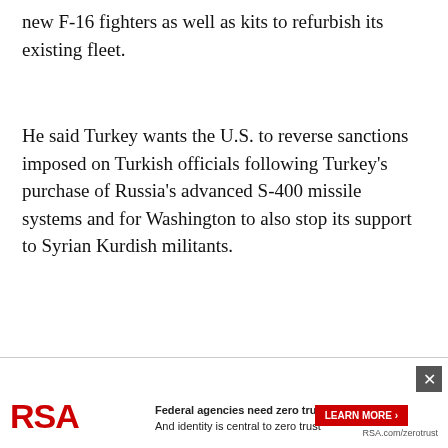new F-16 fighters as well as kits to refurbish its existing fleet.
He said Turkey wants the U.S. to reverse sanctions imposed on Turkish officials following Turkey's purchase of Russia's advanced S-400 missile systems and for Washington to also stop its support to Syrian Kurdish militants.
WASHINGTON — A senior defense official says U.S. Pentagon officials are having discussions with Sweden and Finland on their security needs to deter Russia as both move toward NATO mem...
[Figure (other): RSA advertisement banner: 'Federal agencies need zero trust security / And identity is central to zero trust' with LEARN MORE button and RSA.com/zerotrust URL]